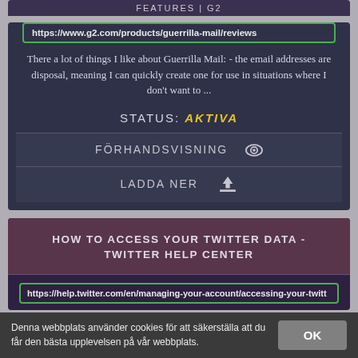FEATURES | G2
https://www.g2.com/products/guerrilla-mail/reviews
There a lot of things I like about Guerrilla Mail: - the email addresses are disposal, meaning I can quickly create one for use in situations where I don't want to ...
STATUS: AKTIVA
FÖRHANDSVISNING
LADDA NER
HOW TO ACCESS YOUR TWITTER DATA - TWITTER HELP CENTER
https://help.twitter.com/en/managing-your-account/accessing-your-twitt
Denna webbplats använder cookies för att säkerställa att du får den bästa upplevelsen på vår webbplats.